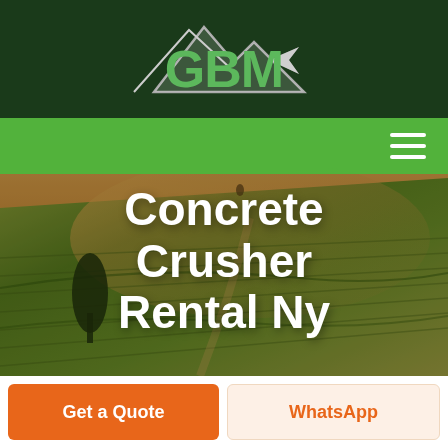[Figure (logo): GBM logo with green mountain/arrow graphic and green GBM text on dark green background]
[Figure (photo): Aerial view of green agricultural fields with curved rows and warm lighting, serving as hero background image]
Concrete Crusher Rental Ny
Get a Quote
WhatsApp